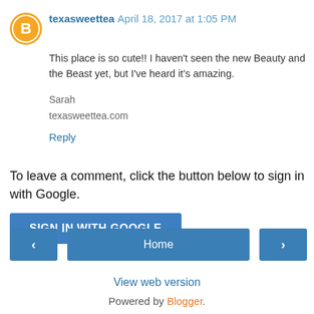texasweettea April 18, 2017 at 1:05 PM
This place is so cute!! I haven't seen the new Beauty and the Beast yet, but I've heard it's amazing.
Sarah
texasweettea.com
Reply
To leave a comment, click the button below to sign in with Google.
SIGN IN WITH GOOGLE
Home
View web version
Powered by Blogger.